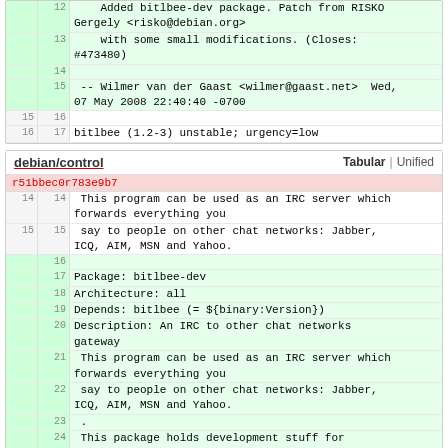| (old ln) | (new ln) | code |
| --- | --- | --- |
|  | 12 |     Added bitlbee-dev package. Patch from RISKO Gergely <risko@debian.org> |
|  | 13 |     with some small modifications. (Closes: #473480) |
|  | 14 |  |
|  | 15 |  -- Wilmer van der Gaast <wilmer@gaast.net>  Wed, 07 May 2008 22:40:40 -0700 |
| 15 | 16 |  |
| 16 | 17 | bitlbee (1.2-3) unstable; urgency=low |
| (old ln) | (new ln) | code |
| --- | --- | --- |
| r51bbec0r783e9b7 |  |  |
| 14 | 14 |  This program can be used as an IRC server which forwards everything you |
| 15 | 15 |  say to people on other chat networks: Jabber, ICQ, AIM, MSN and Yahoo. |
|  | 16 |  |
|  | 17 | Package: bitlbee-dev |
|  | 18 | Architecture: all |
|  | 19 | Depends: bitlbee (= ${binary:Version}) |
|  | 20 | Description: An IRC to other chat networks gateway |
|  | 21 |  This program can be used as an IRC server which forwards everything you |
|  | 22 |  say to people on other chat networks: Jabber, ICQ, AIM, MSN and Yahoo. |
|  | 23 |  . |
|  | 24 |  This package holds development stuff for compiling plug-ins. |